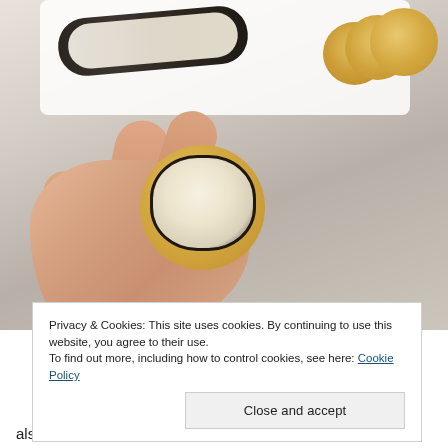[Figure (photo): A hand holds a round cracker topped with a slice of herb-crusted cheese log. In the background on a white plate are more crackers and the cheese log on a marble countertop.]
Privacy & Cookies: This site uses cookies. By continuing to use this website, you agree to their use.
To find out more, including how to control cookies, see here: Cookie Policy
Close and accept
also a sweeter fresh blueberry vanilla topping. I was